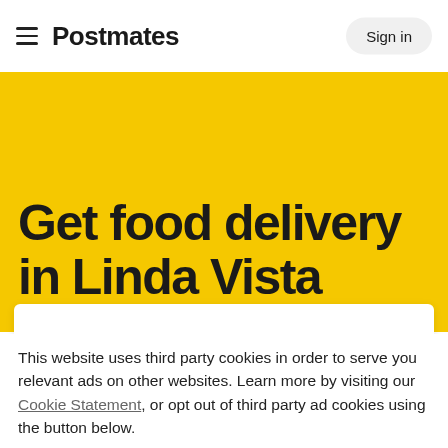Postmates   Sign in
Get food delivery in Linda Vista
This website uses third party cookies in order to serve you relevant ads on other websites. Learn more by visiting our Cookie Statement, or opt out of third party ad cookies using the button below.
OPT OUT   GOT IT